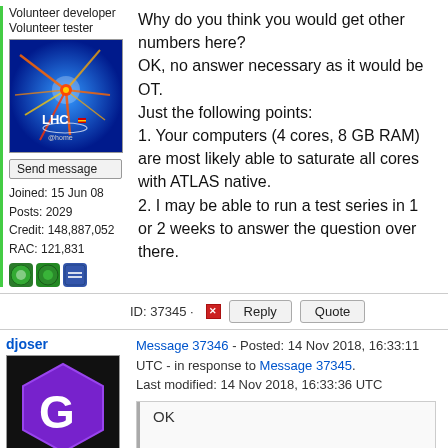Volunteer developer
Volunteer tester
[Figure (photo): LHC@home avatar showing particle collision on blue background with LHC logo]
Send message
Joined: 15 Jun 08
Posts: 2029
Credit: 148,887,052
RAC: 121,831
Why do you think you would get other numbers here?
OK, no answer necessary as it would be OT.
Just the following points:
1. Your computers (4 cores, 8 GB RAM) are most likely able to saturate all cores with ATLAS native.
2. I may be able to run a test series in 1 or 2 weeks to answer the question over there.
ID: 37345 · Reply  Quote
djoser
Message 37346 - Posted: 14 Nov 2018, 16:33:11 UTC - in response to Message 37345.
Last modified: 14 Nov 2018, 16:33:36 UTC
[Figure (photo): djoser avatar showing purple G logo on black background]
OK